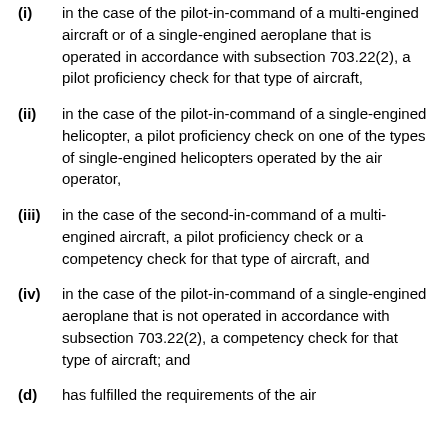(i) in the case of the pilot-in-command of a multi-engined aircraft or of a single-engined aeroplane that is operated in accordance with subsection 703.22(2), a pilot proficiency check for that type of aircraft,
(ii) in the case of the pilot-in-command of a single-engined helicopter, a pilot proficiency check on one of the types of single-engined helicopters operated by the air operator,
(iii) in the case of the second-in-command of a multi-engined aircraft, a pilot proficiency check or a competency check for that type of aircraft, and
(iv) in the case of the pilot-in-command of a single-engined aeroplane that is not operated in accordance with subsection 703.22(2), a competency check for that type of aircraft; and
(d) has fulfilled the requirements of the air